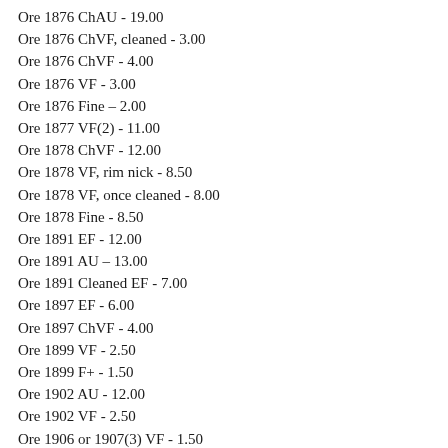Ore 1876 ChAU - 19.00
Ore 1876 ChVF, cleaned - 3.00
Ore 1876 ChVF - 4.00
Ore 1876 VF - 3.00
Ore 1876 Fine – 2.00
Ore 1877 VF(2) - 11.00
Ore 1878 ChVF - 12.00
Ore 1878 VF, rim nick - 8.50
Ore 1878 VF, once cleaned - 8.00
Ore 1878 Fine - 8.50
Ore 1891 EF - 12.00
Ore 1891 AU – 13.00
Ore 1891 Cleaned EF - 7.00
Ore 1897 EF - 6.00
Ore 1897 ChVF - 4.00
Ore 1899 VF - 2.50
Ore 1899 F+ - 1.50
Ore 1902 AU - 12.00
Ore 1902 VF - 2.50
Ore 1906 or 1907(3) VF - 1.50
Ore 1910 F+ - 0.25
Ore 1912 VF(2) - 5.00
Ore 1915 VF old thin scratch - 8.50
Ore 1918 EF, some rust - 8.50
Ore 1920 Iron VF - 7.50